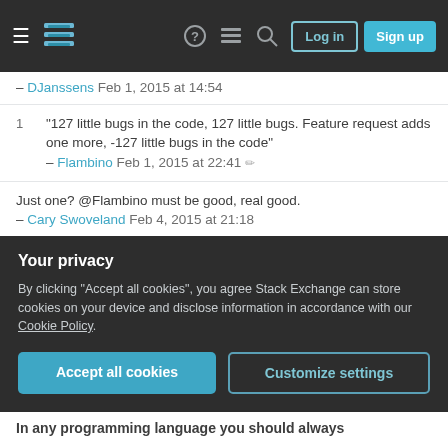Stack Exchange navigation header with Log in and Sign up buttons
– DJanssens Feb 1, 2015 at 14:54
"127 little bugs in the code, 127 little bugs. Feature request adds one more, -127 little bugs in the code" – Flambino Feb 1, 2015 at 22:41
Just one? @Flambino must be good, real good. – Cary Swoveland Feb 4, 2015 at 21:18
@CarySwoveland Well, with the unintended rollover it's at least 2 bugs. But maybe the bug count is a plain 32 bit int, in which case the feature request actually added 4,294,967,042 new bugs. The truth is probably somewhere between those two extremes. – Flambino
Your privacy
By clicking "Accept all cookies", you agree Stack Exchange can store cookies on your device and disclose information in accordance with our Cookie Policy.
Accept all cookies
Customize settings
In any programming language you should always